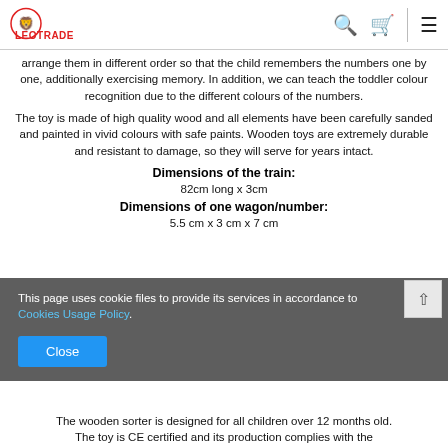LEOTRADE
arrange them in different order so that the child remembers the numbers one by one, additionally exercising memory. In addition, we can teach the toddler colour recognition due to the different colours of the numbers.
The toy is made of high quality wood and all elements have been carefully sanded and painted in vivid colours with safe paints. Wooden toys are extremely durable and resistant to damage, so they will serve for years intact.
Dimensions of the train:
82cm long x 3cm
Dimensions of one wagon/number:
5.5 cm x 3 cm x 7 cm
This page uses cookie files to provide its services in accordance to Cookies Usage Policy.
The wooden sorter is designed for all children over 12 months old. The toy is CE certified and its production complies with the